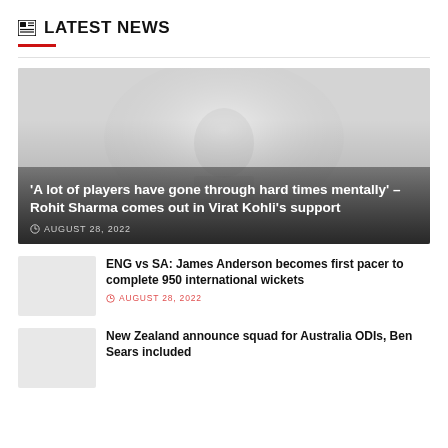LATEST NEWS
[Figure (photo): Faded/misty outdoor photograph used as background for featured article about Rohit Sharma and Virat Kohli]
'A lot of players have gone through hard times mentally' – Rohit Sharma comes out in Virat Kohli's support
AUGUST 28, 2022
[Figure (photo): Thumbnail image for ENG vs SA article]
ENG vs SA: James Anderson becomes first pacer to complete 950 international wickets
AUGUST 28, 2022
[Figure (photo): Thumbnail image for New Zealand squad article]
New Zealand announce squad for Australia ODIs, Ben Sears included